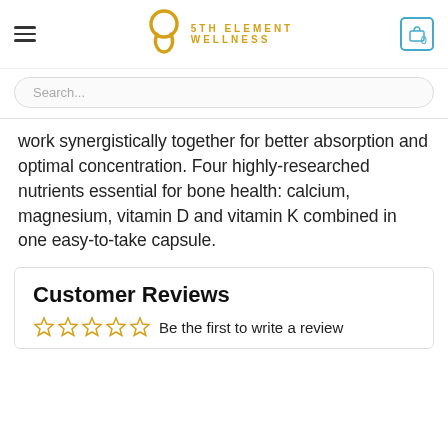5TH ELEMENT WELLNESS — navigation header with hamburger menu, logo, and cart icon showing 0
Search...
work synergistically together for better absorption and optimal concentration. Four highly-researched nutrients essential for bone health: calcium, magnesium, vitamin D and vitamin K combined in one easy-to-take capsule.
Customer Reviews
Be the first to write a review